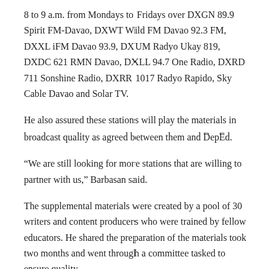8 to 9 a.m. from Mondays to Fridays over DXGN 89.9 Spirit FM-Davao, DXWT Wild FM Davao 92.3 FM, DXXL iFM Davao 93.9, DXUM Radyo Ukay 819, DXDC 621 RMN Davao, DXLL 94.7 One Radio, DXRD 711 Sonshine Radio, DXRR 1017 Radyo Rapido, Sky Cable Davao and Solar TV.
He also assured these stations will play the materials in broadcast quality as agreed between them and DepEd.
“We are still looking for more stations that are willing to partner with us,” Barbasan said.
The supplemental materials were created by a pool of 30 writers and content producers who were trained by fellow educators. He shared the preparation of the materials took two months and went through a committee tasked to ensure quality.
Barbasan said the agency pushed the initiative to provide